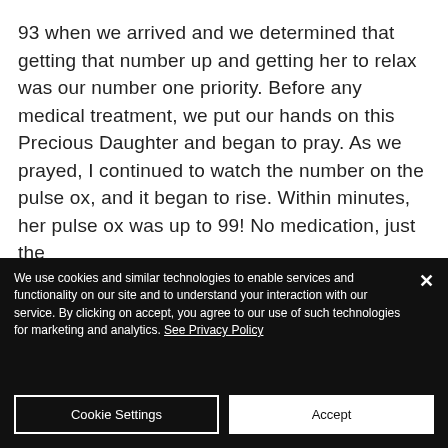93 when we arrived and we determined that getting that number up and getting her to relax was our number one priority. Before any medical treatment, we put our hands on this Precious Daughter and began to pray. As we prayed, I continued to watch the number on the pulse ox, and it began to rise. Within minutes, her pulse ox was up to 99! No medication, just the
We use cookies and similar technologies to enable services and functionality on our site and to understand your interaction with our service. By clicking on accept, you agree to our use of such technologies for marketing and analytics. See Privacy Policy